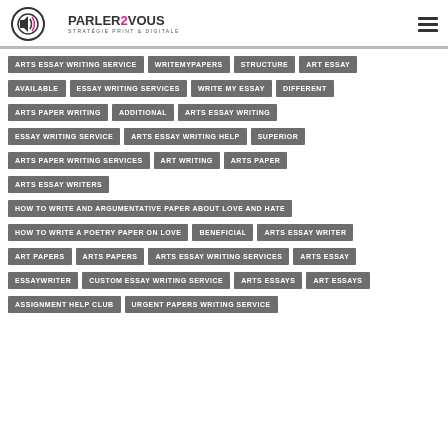[Figure (logo): Parler2Vous logo with speaker icon and text 'PARLER2VOUS STRATEGIE PRINT & DIGITALE']
ARTS ESSAY WRITING SERVICE
WRITEMYPAPERS
STRUCTURE
ART ESSAY
AVAILABLE
ESSAY WRITING SERVICES
WRITE MY ESSAY
DIFFERENT
ARTS PAPER WRITING
ADDITIONAL
ARTS ESSAY WRITING
ESSAY WRITING SERVICE
ARTS ESSAY WRITING HELP
SUPERIOR
ARTS PAPER WRITING SERVICES
ART WRITING
ARTS PAPER
ARTS ESSAY WRITERS
HOW TO WRITE AND ARGUMENTATIVE PAPER ABOUT LOVE AND HATE
HOW TO WRITE A POETRY PAPER ON LOVE
BENEFICIAL
ARTS ESSAY WRITER
ART PAPERS
ARTS PAPERS
ARTS ESSAY WRITING SERVICES
ARTS ESSAY
ESSAYWRITER
CUSTOM ESSAY WRITING SERVICE
ARTS ESSAYS
ART ESSAYS
ASSIGNMENT HELP CLUB
URGENT PAPERS WRITING SERVICE